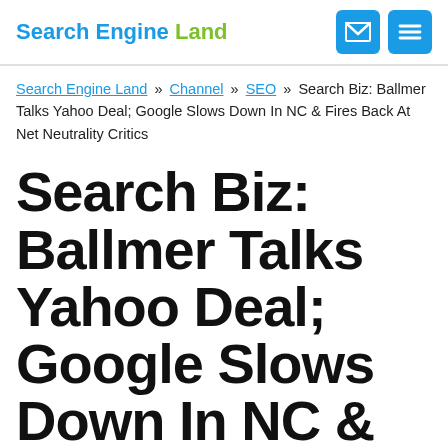Search Engine Land
Search Engine Land » Channel » SEO » Search Biz: Ballmer Talks Yahoo Deal; Google Slows Down In NC & Fires Back At Net Neutrality Critics
Search Biz: Ballmer Talks Yahoo Deal; Google Slows Down In NC & Fires Back At Net Neutrality Critics